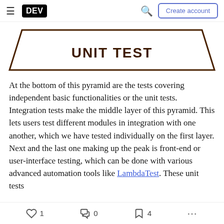DEV | Create account
[Figure (illustration): Bottom portion of a testing pyramid diagram showing a trapezoid shape labeled 'UNIT TEST' in bold dark brown text]
At the bottom of this pyramid are the tests covering independent basic functionalities or the unit tests. Integration tests make the middle layer of this pyramid. This lets users test different modules in integration with one another, which we have tested individually on the first layer. Next and the last one making up the peak is front-end or user-interface testing, which can be done with various advanced automation tools like LambdaTest. These unit tests
1  0  4  ...